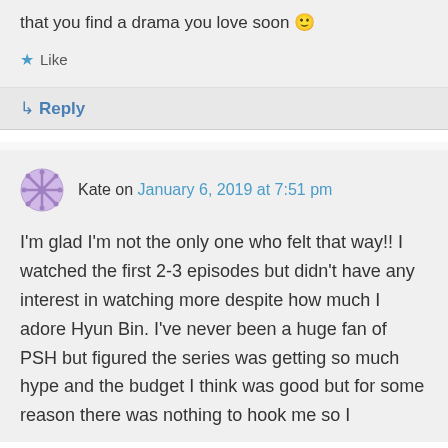that you find a drama you love soon 🙂
★ Like
↳ Reply
Kate on January 6, 2019 at 7:51 pm
I'm glad I'm not the only one who felt that way!! I watched the first 2-3 episodes but didn't have any interest in watching more despite how much I adore Hyun Bin. I've never been a huge fan of PSH but figured the series was getting so much hype and the budget I think was good but for some reason there was nothing to hook me so I